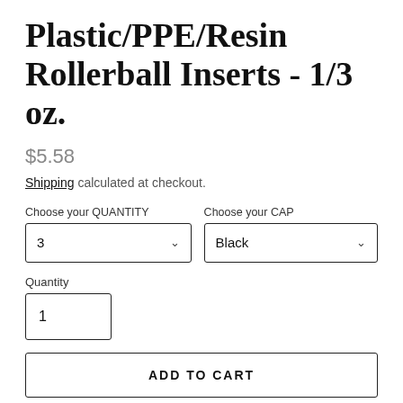Plastic/PPE/Resin Rollerball Inserts - 1/3 oz.
$5.58
Shipping calculated at checkout.
Choose your QUANTITY
3
Choose your CAP
Black
Quantity
1
ADD TO CART